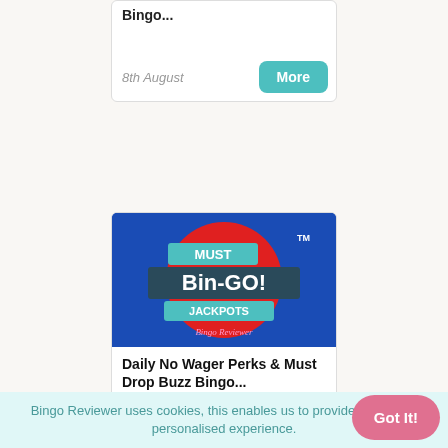Bingo...
8th August
[Figure (illustration): Must Bin-GO! Jackpots promotional image with red circle on blue background, Bingo Reviewer branding]
Daily No Wager Perks & Must Drop Buzz Bingo...
1st August
Bingo Reviewer uses cookies, this enables us to provide you with a personalised experience.